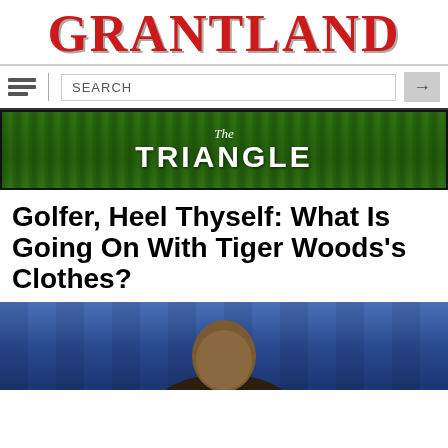[Figure (logo): Grantland logo in red serif font]
[Figure (screenshot): Navigation bar with hamburger menu, search box, and arrow button]
[Figure (illustration): The Triangle banner on green grass background]
Golfer, Heel Thyself: What Is Going On With Tiger Woods's Clothes?
[Figure (photo): Photo of Tiger Woods from the shoulders up against a blue curtain background]